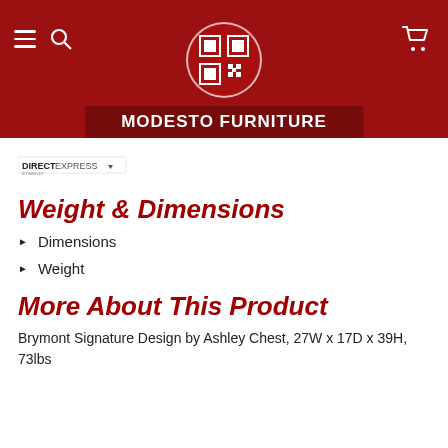MODESTO FURNITURE
[Figure (logo): Direct Express by Ashley badge/logo]
Weight & Dimensions
Dimensions
Weight
More About This Product
Brymont Signature Design by Ashley Chest, 27W x 17D x 39H, 73lbs